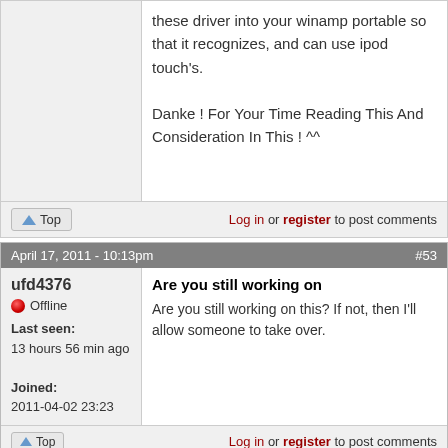these driver into your winamp portable so that it recognizes, and can use ipod touch's.

Danke ! For Your Time Reading This And Consideration In This ! ^^
Log in or register to post comments
April 17, 2011 - 10:13pm  #53
ufd4376
Offline
Last seen: 13 hours 56 min ago
Joined: 2011-04-02 23:23
Are you still working on
Are you still working on this? If not, then I'll allow someone to take over.
Log in or register to post comments
April 18, 2011 - 11:07am  (Reply to #53)  #54